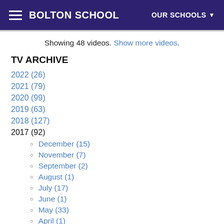BOLTON SCHOOL | OUR SCHOOLS
Showing 48 videos. Show more videos.
TV ARCHIVE
2022 (26)
2021 (79)
2020 (99)
2019 (63)
2018 (127)
2017 (92)
December (15)
November (7)
September (2)
August (1)
July (17)
June (1)
May (33)
April (1)
March (11)